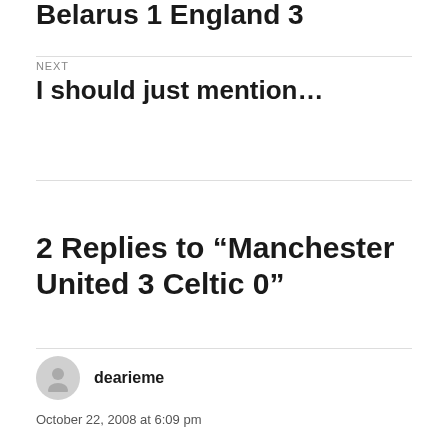Belarus 1 England 3
NEXT
I should just mention…
2 Replies to “Manchester United 3 Celtic 0”
dearieme
October 22, 2008 at 6:09 pm